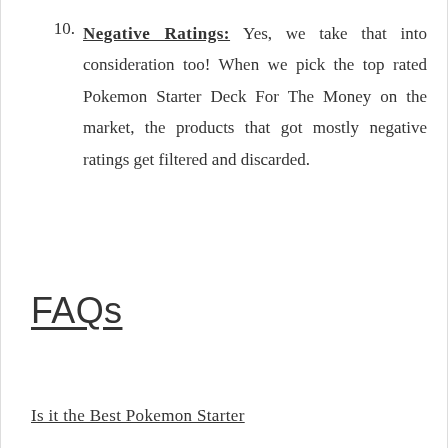10. Negative Ratings: Yes, we take that into consideration too! When we pick the top rated Pokemon Starter Deck For The Money on the market, the products that got mostly negative ratings get filtered and discarded.
FAQs
Is it the Best Pokemon Starter